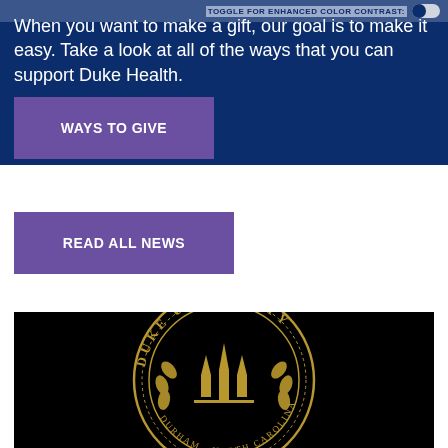When you want to make a gift, our goal is to make it easy. Take a look at all of the ways that you can support Duke Health.
TOGGLE FOR ENHANCED COLOR CONTRAST:
[Figure (other): WAYS TO GIVE button — purple rectangle with white bold text]
[Figure (other): READ ALL NEWS button — purple rectangle with white bold text]
[Figure (logo): Duke University seal on black background — circular gold seal with Duke University text and architectural/heraldic imagery]